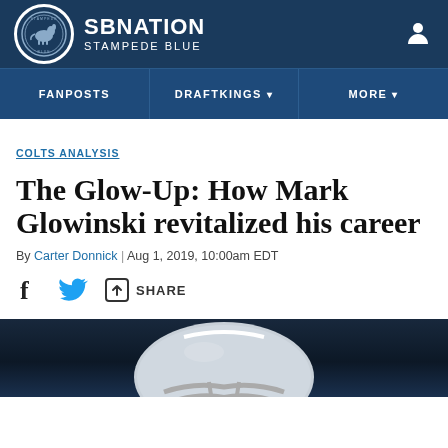SB NATION — STAMPEDE BLUE
COLTS ANALYSIS
The Glow-Up: How Mark Glowinski revitalized his career
By Carter Donnick | Aug 1, 2019, 10:00am EDT
SHARE
[Figure (photo): Dark photo showing a football helmet from the top, partially visible at bottom of page]